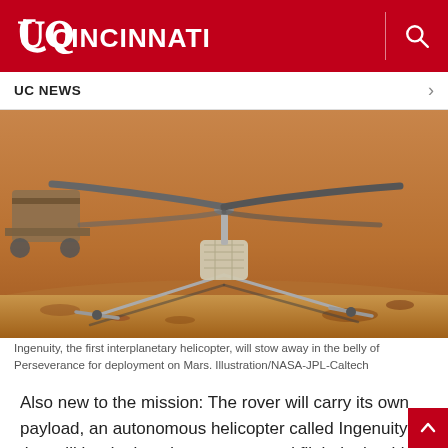UC CINCINNATI
UC NEWS
[Figure (photo): NASA Ingenuity helicopter illustration on Mars surface, showing the small rotorcraft with rotor blades and landing legs on the red/sandy Martian terrain, with the Perseverance rover visible in the background upper left.]
Ingenuity, the first interplanetary helicopter, will stow away in the belly of Perseverance for deployment on Mars. Illustration/NASA-JPL-Caltech
Also new to the mission: The rover will carry its own payload, an autonomous helicopter called Ingenuity that will be deployed to test powered flight in the thin Martian atmosphere. Similar aircraft could be useful